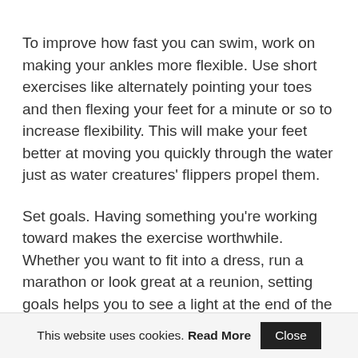To improve how fast you can swim, work on making your ankles more flexible. Use short exercises like alternately pointing your toes and then flexing your feet for a minute or so to increase flexibility. This will make your feet better at moving you quickly through the water just as water creatures' flippers propel them.
Set goals. Having something you're working toward makes the exercise worthwhile. Whether you want to fit into a dress, run a marathon or look great at a reunion, setting goals helps you to see a light at the end of the
This website uses cookies. Read More  Close